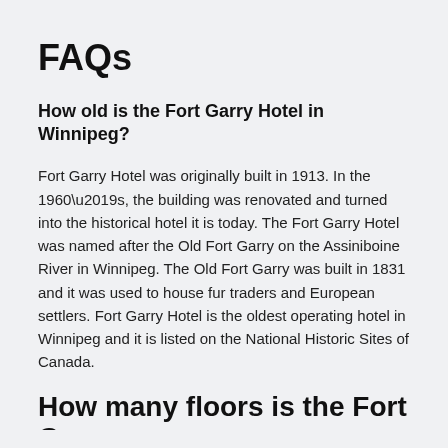FAQs
How old is the Fort Garry Hotel in Winnipeg?
Fort Garry Hotel was originally built in 1913. In the 1960’s, the building was renovated and turned into the historical hotel it is today. The Fort Garry Hotel was named after the Old Fort Garry on the Assiniboine River in Winnipeg. The Old Fort Garry was built in 1831 and it was used to house fur traders and European settlers. Fort Garry Hotel is the oldest operating hotel in Winnipeg and it is listed on the National Historic Sites of Canada.
How many floors is the Fort G…